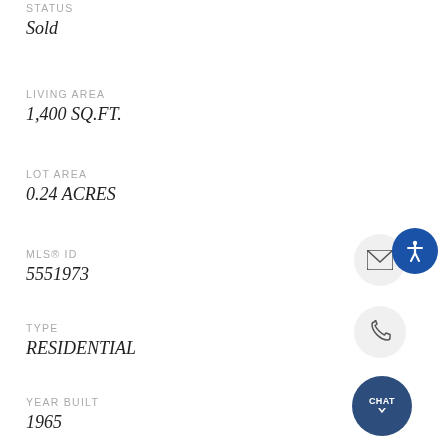STATUS
Sold
LIVING AREA
1,400 SQ.FT.
LOT AREA
0.24 ACRES
MLS® ID
5551973
TYPE
RESIDENTIAL
YEAR BUILT
1965
HIGH SCHOOL